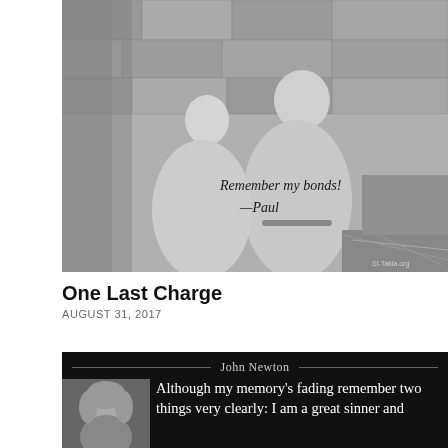[Figure (illustration): Black and white engraving of two robed figures, one seated in chains (Paul), the other kneeling before him writing, set against stone walls. Overlaid cursive text reads 'Remember my bonds! —Paul'. Watermark reads 'St-Takla.org'.]
One Last Charge
AUGUST 31, 2017
[Figure (illustration): Dark card with header 'John Newton' flanked by horizontal lines. Left side shows a portrait of John Newton (black and white). Right side shows white text: 'Although my memory's fading remember two things very clearly: I am a great sinner and...']